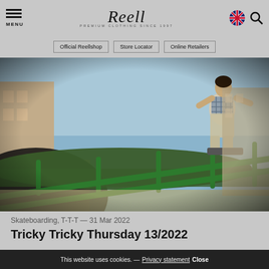MENU | Reell PREMIUM CLOTHING SINCE 1997 | [UK flag] [Search]
Official Reellshop | Store Locator | Online Retailers
[Figure (photo): Skateboarder grinding a green metal rail in an urban setting, wearing plaid shirt and beige pants, with buildings and blue sky in the background. Wide-angle fisheye perspective.]
Skateboarding, T-T-T — 31 Mar 2022
Tricky Tricky Thursday 13/2022
This website uses cookies. — Privacy statement Close